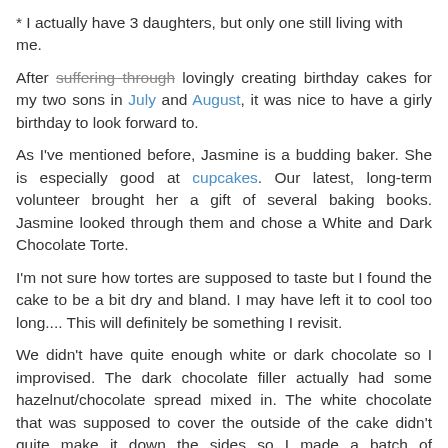* I actually have 3 daughters, but only one still living with me.
After suffering through lovingly creating birthday cakes for my two sons in July and August, it was nice to have a girly birthday to look forward to.
As I've mentioned before, Jasmine is a budding baker. She is especially good at cupcakes. Our latest, long-term volunteer brought her a gift of several baking books. Jasmine looked through them and chose a White and Dark Chocolate Torte.
I'm not sure how tortes are supposed to taste but I found the cake to be a bit dry and bland. I may have left it to cool too long.... This will definitely be something I revisit.
We didn't have quite enough white or dark chocolate so I improvised. The dark chocolate filler actually had some hazelnut/chocolate spread mixed in. The white chocolate that was supposed to cover the outside of the cake didn't quite make it down the sides so I made a batch of buttercream frosting for the sides and to decorate with.